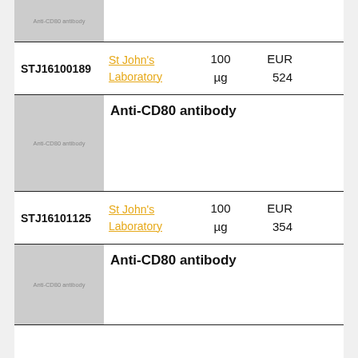[Figure (photo): Partial product image for Anti-CD80 antibody, greyed placeholder with text 'Anti-CD80 antibody']
| Cat# | Supplier | Quantity | Price |
| --- | --- | --- | --- |
| STJ16100189 | St John's Laboratory | 100 µg | EUR 524 |
[Figure (photo): Product image placeholder for Anti-CD80 antibody with grey background and label text]
Anti-CD80 antibody
| Cat# | Supplier | Quantity | Price |
| --- | --- | --- | --- |
| STJ16101125 | St John's Laboratory | 100 µg | EUR 354 |
[Figure (photo): Product image placeholder for Anti-CD80 antibody with grey background and label text]
Anti-CD80 antibody